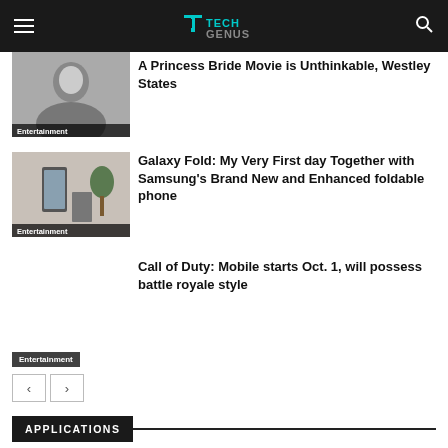TECH GENUS (logo)
[Figure (photo): Grayscale photo of a woman with her hand near her face, with Entertainment category tag]
A Princess Bride Movie is Unthinkable, Westley States
[Figure (photo): Photo of a Samsung Galaxy Fold phone propped up near a plant, with Entertainment category tag]
Galaxy Fold: My Very First day Together with Samsung's Brand New and Enhanced foldable phone
Call of Duty: Mobile starts Oct. 1, will possess battle royale style
Entertainment (pagination controls)
APPLICATIONS